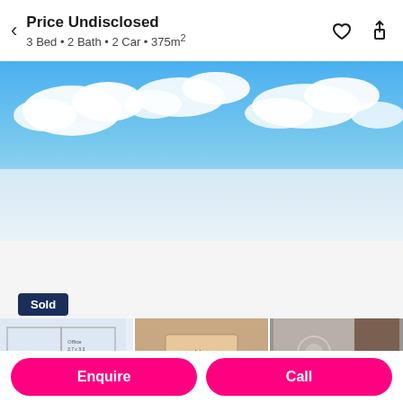Price Undisclosed
3 Bed • 2 Bath • 2 Car • 375m²
[Figure (photo): Blue sky with white clouds — property listing hero image]
Sold
[Figure (photo): Floor plan thumbnail showing Office 3.7x3.3, Bath]
[Figure (photo): Address sign thumbnail — beige/tan wall with sign]
[Figure (photo): Interior room thumbnail showing grey wall and decorative element]
Enquire
Call